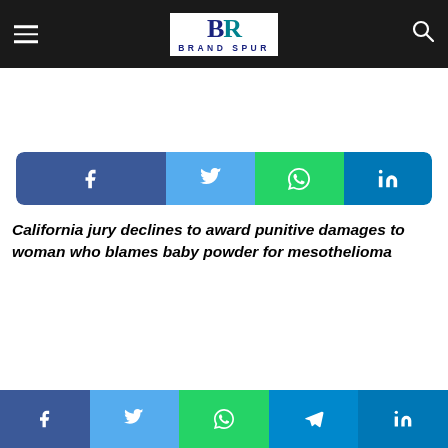Brand Spur
[Figure (other): Social share buttons: Facebook, Twitter, WhatsApp, LinkedIn]
California jury declines to award punitive damages to woman who blames baby powder for mesothelioma
[Figure (other): Bottom social share bar: Facebook, Twitter, WhatsApp, Telegram, LinkedIn]